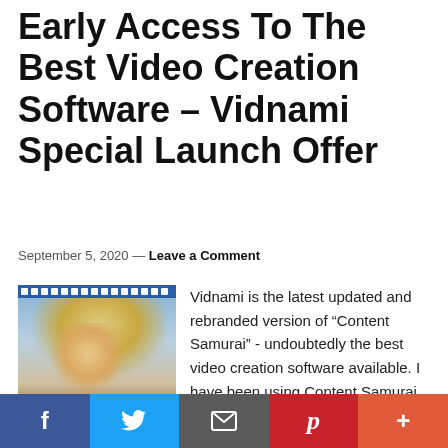Early Access To The Best Video Creation Software – Vidnami Special Launch Offer
September 5, 2020 — Leave a Comment
[Figure (photo): A photo of a child looking down, with a film strip graphic across the top, set against a warm golden background]
Vidnami is the latest updated and rebranded version of "Content Samurai" - undoubtedly the best video creation software available. I have been using Content Samurai for years, and will now be using Vidnami for many more years. For the official launch of Vidnami, the
f  (Twitter bird)  (envelope)  p  +